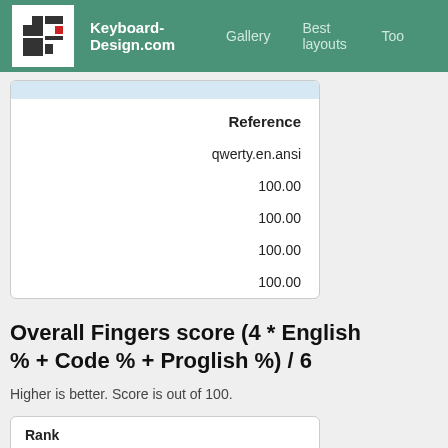Keyboard-Design.com | Gallery | Best layouts | Too
| Reference |
| --- |
| qwerty.en.ansi |
| 100.00 |
| 100.00 |
| 100.00 |
| 100.00 |
Overall Fingers score (4 * English % + Code % + Proglish %) / 6
Higher is better. Score is out of 100.
| Rank | Layout | Percentage |
| --- | --- | --- |